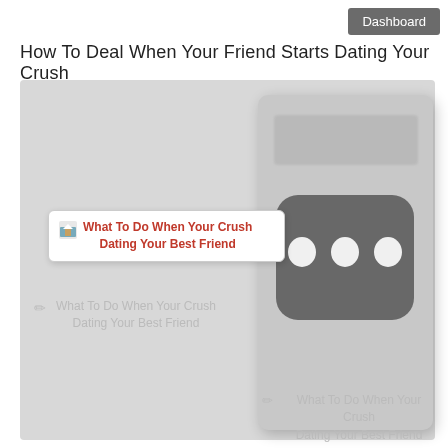Dashboard
How To Deal When Your Friend Starts Dating Your Crush
[Figure (screenshot): A webpage screenshot showing two image placeholders with tooltip overlay. Left panel shows a light gray background with a tooltip popup reading 'What To Do When Your Crush Dating Your Best Friend' in red, with a small image icon. Below is a pencil/edit icon and grayed caption text. Right panel shows a card with a dark rounded-rectangle icon containing three white oval dots (like an app icon), with a pencil icon and caption text below.]
What To Do When Your Crush Dating Your Best Friend
What To Do When Your Crush Dating Your Best Friend